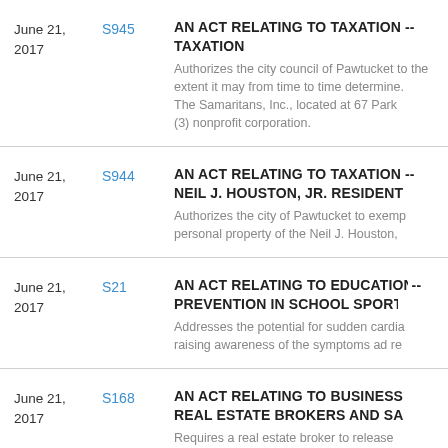June 21, 2017 | S945 | AN ACT RELATING TO TAXATION -- TAXATION. Authorizes the city council of Pawtucket to the extent it may from time to time determine. The Samaritans, Inc., located at 67 Park (3) nonprofit corporation.
June 21, 2017 | S944 | AN ACT RELATING TO TAXATION -- NEIL J. HOUSTON, JR. RESIDENCE. Authorizes the city of Pawtucket to exempt personal property of the Neil J. Houston,
June 21, 2017 | S21 | AN ACT RELATING TO EDUCATION -- PREVENTION IN SCHOOL SPORTS. Addresses the potential for sudden cardiac by raising awareness of the symptoms ad re
June 21, 2017 | S168 | AN ACT RELATING TO BUSINESS -- REAL ESTATE BROKERS AND SALESPEOPLE. Requires a real estate broker to release